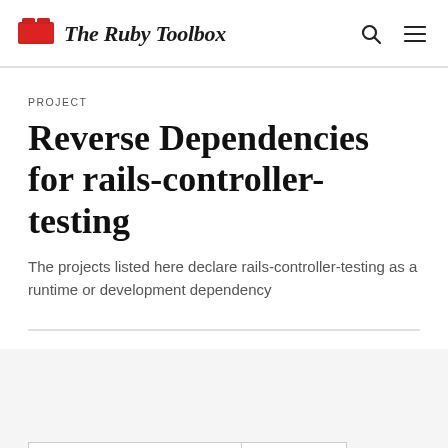The Ruby Toolbox
PROJECT
Reverse Dependencies for rails-controller-testing
The projects listed here declare rails-controller-testing as a runtime or development dependency